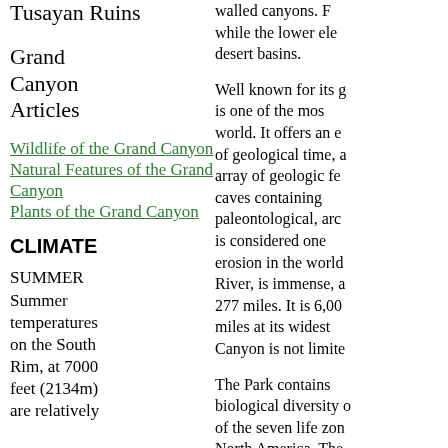Tusayan Ruins
Grand Canyon Articles
Wildlife of the Grand Canyon
Natural Features of the Grand Canyon
Plants of the Grand Canyon
CLIMATE
SUMMER
Summer temperatures on the South Rim, at 7000 feet (2134m) are relatively
walled canyons. The while the lower ele desert basins.
Well known for its g is one of the mos world. It offers an e of geological time, a array of geologic fe caves containing paleontological, arc is considered one erosion in the world River, is immense, a 277 miles. It is 6,00 miles at its widest Canyon is not limite
The Park contains biological diversity o of the seven life zon North America. The Lower Sonoran, Up Hudsonian. This is Canada. The Park with relatively u